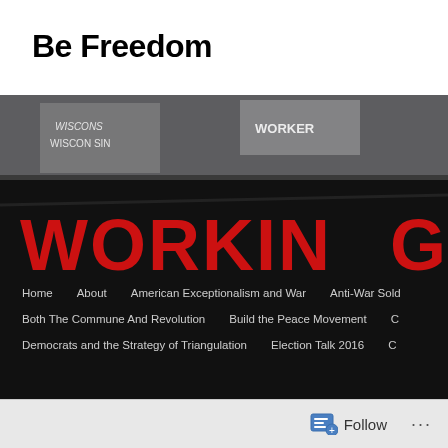Be Freedom
[Figure (photo): A protest banner reading 'WORKING UNITE &' in large red and white letters on a black background, with protesters holding signs including 'WISCONSIN' and 'WORKER' visible behind it.]
Home   About   American Exceptionalism and War   Anti-War Sold...   Both The Commune And Revolution   Build the Peace Movement   C...   Democrats and the Strategy of Triangulation   Election Talk 2016   C...
Follow  ...